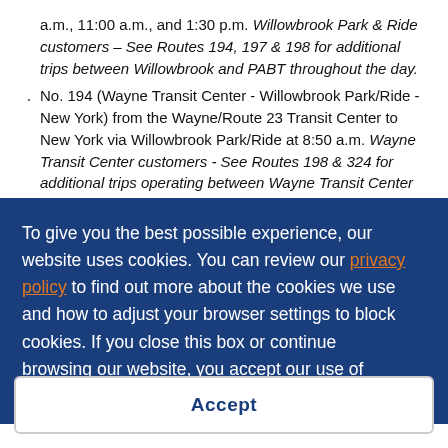a.m., 11:00 a.m., and 1:30 p.m. Willowbrook Park & Ride customers – See Routes 194, 197 & 198 for additional trips between Willowbrook and PABT throughout the day.
No. 194 (Wayne Transit Center - Willowbrook Park/Ride - New York) from the Wayne/Route 23 Transit Center to New York via Willowbrook Park/Ride at 8:50 a.m. Wayne Transit Center customers - See Routes 198 & 324 for additional trips operating between Wayne Transit Center and PABT
To give you the best possible experience, our website uses cookies. You can review our privacy policy to find out more about the cookies we use and how to adjust your browser settings to block cookies. If you close this box or continue browsing our website, you accept our use of cookies.
Accept